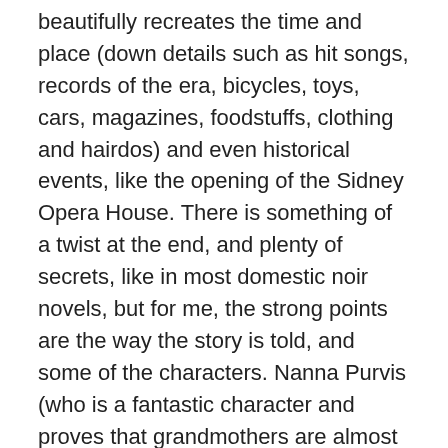beautifully recreates the time and place (down details such as hit songs, records of the era, bicycles, toys, cars, magazines, foodstuffs, clothing and hairdos) and even historical events, like the opening of the Sidney Opera House. There is something of a twist at the end, and plenty of secrets, like in most domestic noir novels, but for me, the strong points are the way the story is told, and some of the characters. Nanna Purvis (who is a fantastic character and proves that grandmothers are almost always right) has old-fashioned ideas about relationships, sexuality, religion and race, but manages to surprise us and has good insight into her own family. Tanya reminded me of myself at her age (although I read other types of books, I was also overweight and wasn't the most popular girl at school, and we also lived with my mother's mother, although thankfully my home circumstances were not as